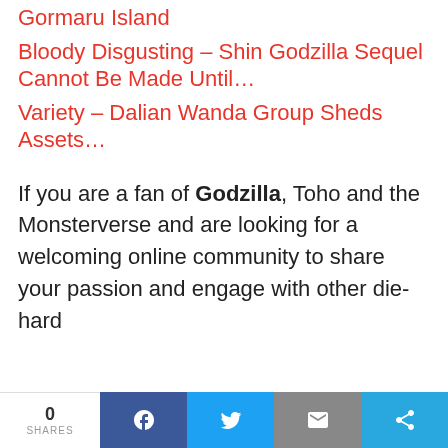Gormaru Island
Bloody Disgusting - Shin Godzilla Sequel Cannot Be Made Until…
Variety - Dalian Wanda Group Sheds Assets…
If you are a fan of Godzilla, Toho and the Monsterverse and are looking for a welcoming online community to share your passion and engage with other die-hard
0 SHARES | Facebook | Twitter | Email | Share